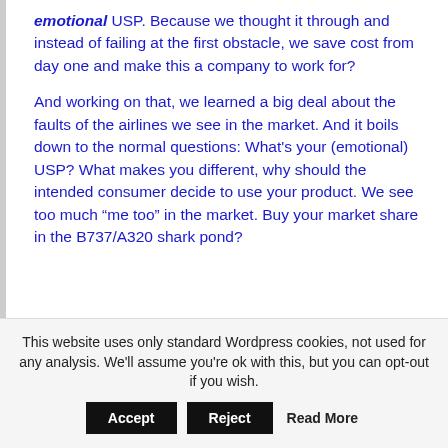emotional USP. Because we thought it through and instead of failing at the first obstacle, we save cost from day one and make this a company to work for?
And working on that, we learned a big deal about the faults of the airlines we see in the market. And it boils down to the normal questions: What's your (emotional) USP? What makes you different, why should the intended consumer decide to use your product. We see too much “me too” in the market. Buy your market share in the B737/A320 shark pond?
This website uses only standard Wordpress cookies, not used for any analysis. We'll assume you're ok with this, but you can opt-out if you wish. Accept Reject Read More